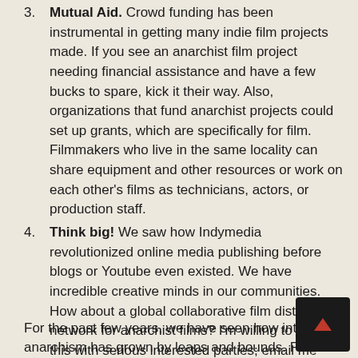3. Mutual Aid. Crowd funding has been instrumental in getting many indie film projects made. If you see an anarchist film project needing financial assistance and have a few bucks to spare, kick it their way. Also, organizations that fund anarchist projects could set up grants, which are specifically for film. Filmmakers who live in the same locality can share equipment and other resources or work on each other's films as technicians, actors, or production staff.
4. Think big! We saw how Indymedia revolutionized online media publishing before blogs or Youtube even existed. We have incredible creative minds in our communities. How about a global collaborative film distribution network for anarchist films? I'm willing to discuss this with serious interested parties; email me frank – AT – submedia – DOT – tv
For the past few years, we have seen how interest in anarchism has grown by leaps and bounds. From